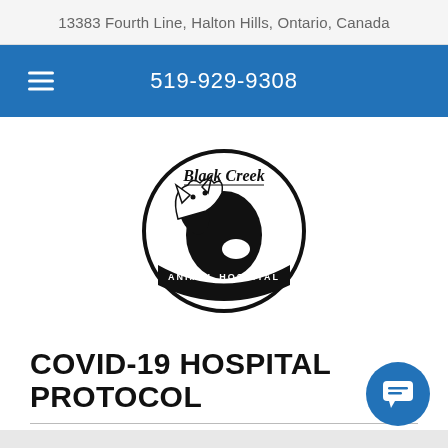13383 Fourth Line, Halton Hills, Ontario, Canada
519-929-9308
[Figure (logo): Black Creek Animal Hospital circular logo with a dog and cat silhouette, black and white, with 'Black Creek' in cursive script at top and 'Animal Hospital' banner at bottom]
COVID-19 HOSPITAL PROTOCOLS